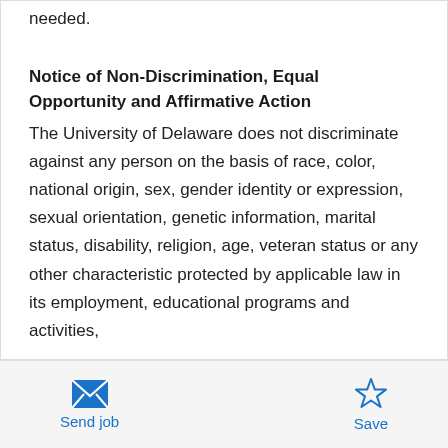needed.
Notice of Non-Discrimination, Equal Opportunity and Affirmative Action
The University of Delaware does not discriminate against any person on the basis of race, color, national origin, sex, gender identity or expression, sexual orientation, genetic information, marital status, disability, religion, age, veteran status or any other characteristic protected by applicable law in its employment, educational programs and activities,